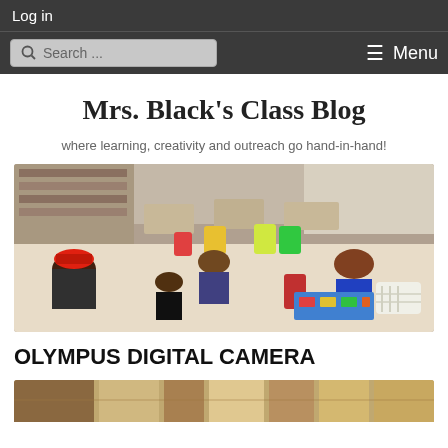Log in
Search ... Menu
Mrs. Black's Class Blog
where learning, creativity and outreach go hand-in-hand!
[Figure (photo): Classroom photo showing students sitting at desks and on the floor working on activities, with colorful chairs and bookshelves in the background]
OLYMPUS DIGITAL CAMERA
[Figure (photo): Partial view of a second classroom photo, partially cropped at the bottom of the page]